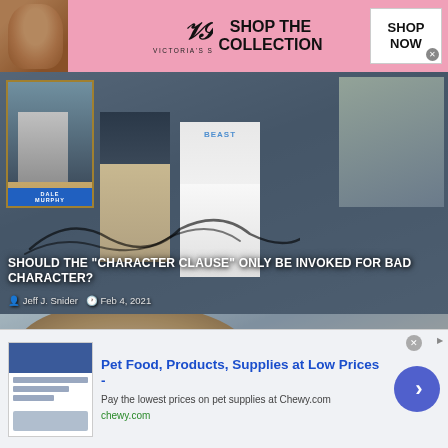[Figure (photo): Victoria's Secret advertisement banner with model, VS logo, 'SHOP THE COLLECTION' text and 'SHOP NOW' button]
[Figure (photo): Article hero image showing baseball card collage with a child in a BEAST shirt and adults, with autographs/signatures visible. Dale Murphy baseball card visible.]
SHOULD THE “CHARACTER CLAUSE” ONLY BE INVOKED FOR BAD CHARACTER?
Jeff J. Snider   Feb 4, 2021
[Figure (photo): Partial face of a bald man in a second article thumbnail]
[Figure (photo): Chewy.com advertisement: Pet Food, Products, Supplies at Low Prices - Pay the lowest prices on pet supplies at Chewy.com]
Pet Food, Products, Supplies at Low Prices -
Pay the lowest prices on pet supplies at Chewy.com
chewy.com